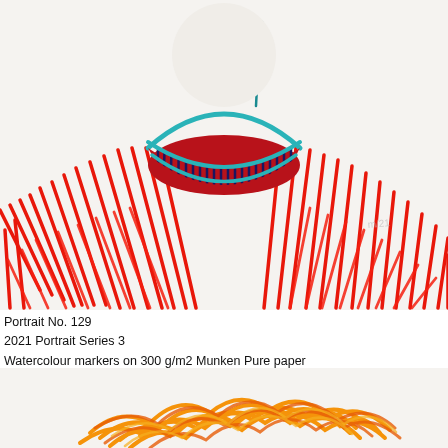[Figure (illustration): Watercolour marker drawing showing the upper torso/collar area of a figure wearing a red garment with a striped (navy/dark blue vertical lines on red background) neckline/collar area, accented with a teal/turquoise outline. The background is off-white. Artist initials and date visible in top right.]
Portrait No. 129
2021 Portrait Series 3
Watercolour markers on 300 g/m2 Munken Pure paper
21 x 28 cm

Available
[Figure (illustration): Watercolour marker drawing showing an orange and red loosely scribbled circular/oval shape resembling hair or a head of loosely drawn strokes on a white background, cropped at bottom of page.]